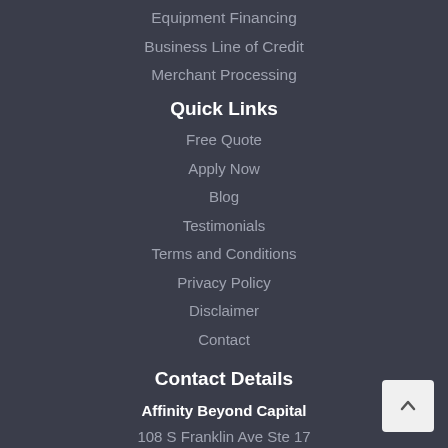Equipment Financing
Business Line of Credit
Merchant Processing
Quick Links
Free Quote
Apply Now
Blog
Testimonials
Terms and Conditions
Privacy Policy
Disclaimer
Contact
Contact Details
Affinity Beyond Capital
108 S Franklin Ave Ste 17
Valley Stream, NY 11580